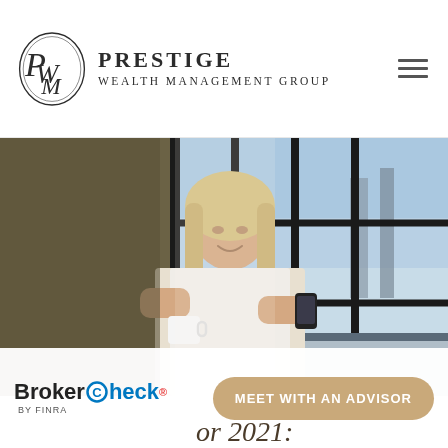[Figure (logo): Prestige Wealth Management Group logo with ornate PWM monogram emblem and serif text]
[Figure (photo): Middle-aged woman with blonde hair holding a coffee mug and a smartphone, standing near large industrial windows with bright light coming through]
[Figure (logo): BrokerCheck by FINRA logo in blue and black]
MEET WITH AN ADVISOR
or 2021: